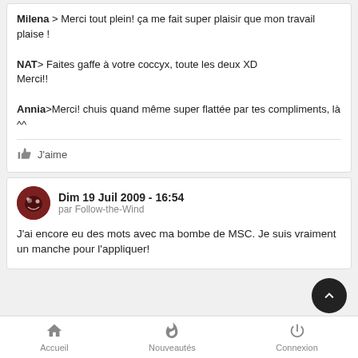**Milena** > Merci tout plein! ça me fait super plaisir que mon travail plaise !

NAT> Faites gaffe à votre coccyx, toute les deux XD Merci!!

Annia>Merci! chuis quand même super flattée par tes compliments, là ^^
J'aime
Dim 19 Juil 2009 - 16:54
par Follow-the-Wind
J'ai encore eu des mots avec ma bombe de MSC. Je suis vraiment un manche pour l'appliquer!
Accueil   Nouveautés   Connexion